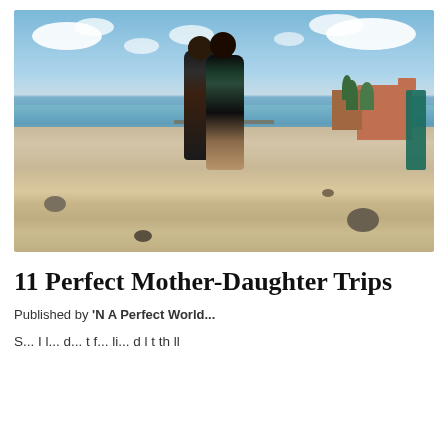[Figure (photo): Two women in swimsuits posing together on a sandy beach with calm water, mountains in the background, and buildings/trees on the right side. Blue sky with white clouds overhead. Rocks scattered on the beach foreground.]
11 Perfect Mother-Daughter Trips
Published by 'N A Perfect World...
S... I l... d... t f... li... d l t th ll